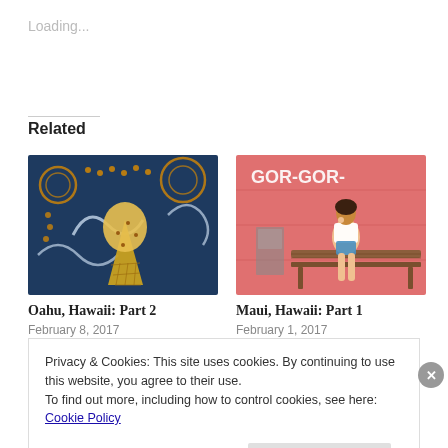Loading...
Related
[Figure (photo): Dark blue decorative background with orange/gold dots and swirls pattern, with a golden soft-serve ice cream cone in front.]
Oahu, Hawaii: Part 2
February 8, 2017
In "Food"
[Figure (photo): Woman standing in front of a pink wall with white text reading GOR-GOR, sitting on a wooden bench, eating ice cream.]
Maui, Hawaii: Part 1
February 1, 2017
In "Travel"
Privacy & Cookies: This site uses cookies. By continuing to use this website, you agree to their use.
To find out more, including how to control cookies, see here: Cookie Policy
Close and accept